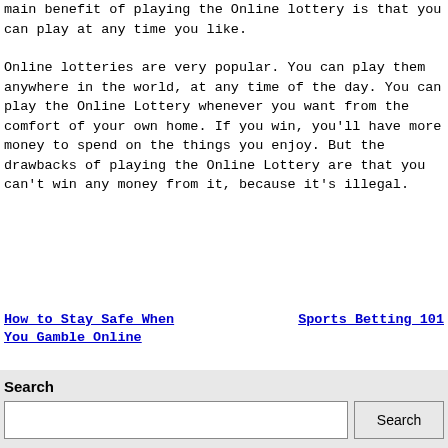main benefit of playing the Online lottery is that you can play at any time you like.
Online lotteries are very popular. You can play them anywhere in the world, at any time of the day. You can play the Online Lottery whenever you want from the comfort of your own home. If you win, you'll have more money to spend on the things you enjoy. But the drawbacks of playing the Online Lottery are that you can't win any money from it, because it's illegal.
How to Stay Safe When You Gamble Online    Sports Betting 101
Search